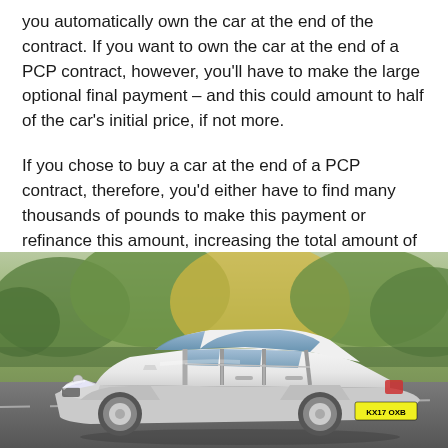you automatically own the car at the end of the contract. If you want to own the car at the end of a PCP contract, however, you'll have to make the large optional final payment – and this could amount to half of the car's initial price, if not more.
If you chose to buy a car at the end of a PCP contract, therefore, you'd either have to find many thousands of pounds to make this payment or refinance this amount, increasing the total amount of interest you'll pay.
[Figure (photo): A white Volkswagen Golf hatchback driving on a road, photographed from a front-left angle with a blurred green tree background. The car has a UK number plate reading KX17 OXB.]